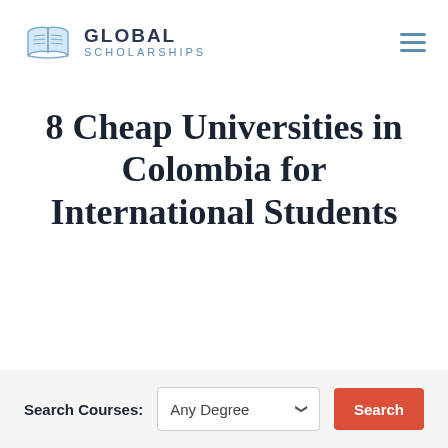GLOBAL SCHOLARSHIPS
8 Cheap Universities in Colombia for International Students
Search Courses: Any Degree Search